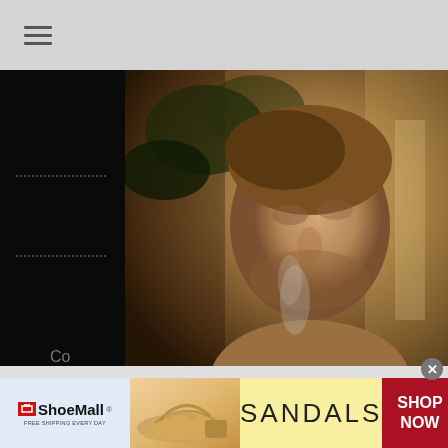[Figure (screenshot): Navigation bar with hamburger menu icon on gray background]
[Figure (photo): Close-up photo of a young man with light brown hair, looking to the side, with warm golden-brown tones]
Music, Premieres
Premiere: Seph Cove Finds Shelter in the Memory of Love with Debut Single “Falling”
[Figure (infographic): ShoeMall advertisement banner showing sandals and SHOP NOW call to action]